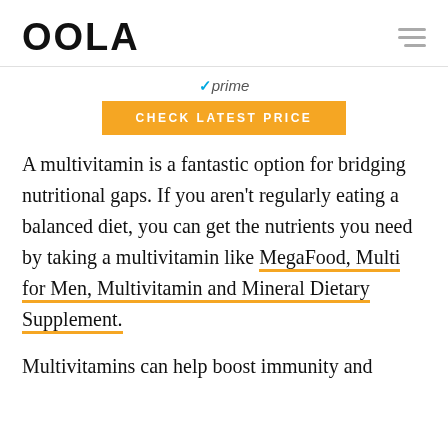OOLA
✓prime
CHECK LATEST PRICE
A multivitamin is a fantastic option for bridging nutritional gaps. If you aren't regularly eating a balanced diet, you can get the nutrients you need by taking a multivitamin like MegaFood, Multi for Men, Multivitamin and Mineral Dietary Supplement.
Multivitamins can help boost immunity and